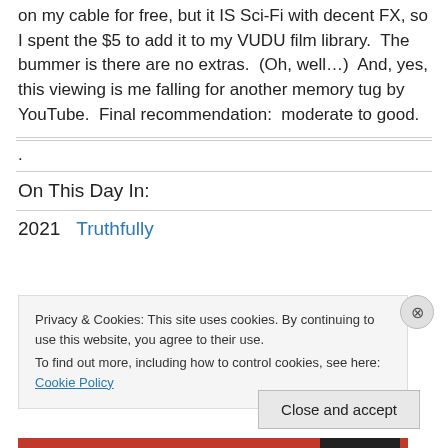on my cable for free, but it IS Sci-Fi with decent FX, so I spent the $5 to add it to my VUDU film library.  The bummer is there are no extras.  (Oh, well…)  And, yes, this viewing is me falling for another memory tug by YouTube.  Final recommendation:  moderate to good.
.
On This Day In:
2021    Truthfully
Privacy & Cookies: This site uses cookies. By continuing to use this website, you agree to their use.
To find out more, including how to control cookies, see here: Cookie Policy